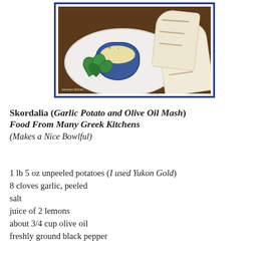[Figure (photo): A blue-bordered photo of a bowl of skordalia (garlic potato mash) in a blue ramekin on a white plate, garnished with fresh mint leaves, served with grilled pita bread pieces. Watermark reads 'bavarian kitchen'.]
Skordalia (Garlic Potato and Olive Oil Mash) Food From Many Greek Kitchens (Makes a Nice Bowlful)
1 lb 5 oz unpeeled potatoes (I used Yukon Gold)
8 cloves garlic, peeled
salt
juice of 2 lemons
about 3/4 cup olive oil
freshly ground black pepper